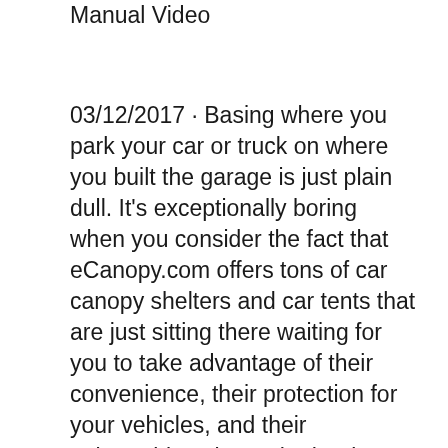Manual Video
03/12/2017 · Basing where you park your car or truck on where you built the garage is just plain dull. It's exceptionally boring when you consider the fact that eCanopy.com offers tons of car canopy shelters and car tents that are just sitting there waiting for you to take advantage of their convenience, their protection for your vehicles, and their unbeatable value. Whether it's your number of guests you'd like to shelter or the dimensions of your car, you should keep your size requirements in mind as you shop for canopies. Once you know what size will fit your space